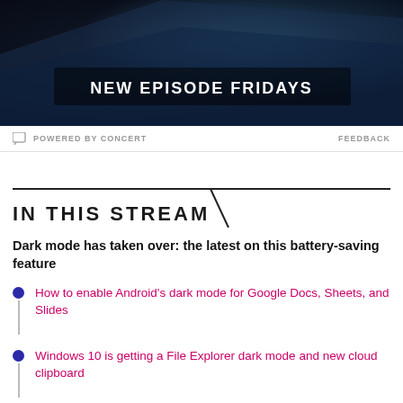[Figure (photo): Advertisement banner with dark background, text 'NEW EPISODE FRIDAYS']
POWERED BY CONCERT    FEEDBACK
IN THIS STREAM
Dark mode has taken over: the latest on this battery-saving feature
How to enable Android's dark mode for Google Docs, Sheets, and Slides
Windows 10 is getting a File Explorer dark mode and new cloud clipboard
Twitch's mobile app is getting a huge update
VIEW ALL 48 STORIES